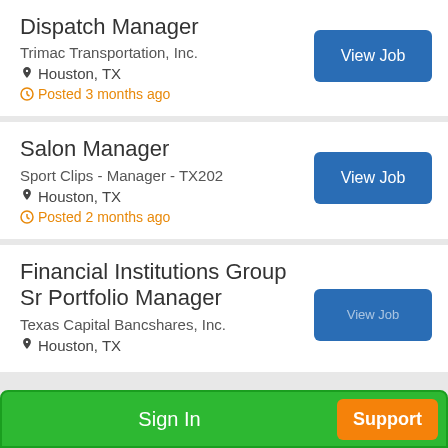Dispatch Manager
Trimac Transportation, Inc.
Houston, TX
Posted 3 months ago
Salon Manager
Sport Clips - Manager - TX202
Houston, TX
Posted 2 months ago
Financial Institutions Group Sr Portfolio Manager
Texas Capital Bancshares, Inc.
Houston, TX
Sign In
Support